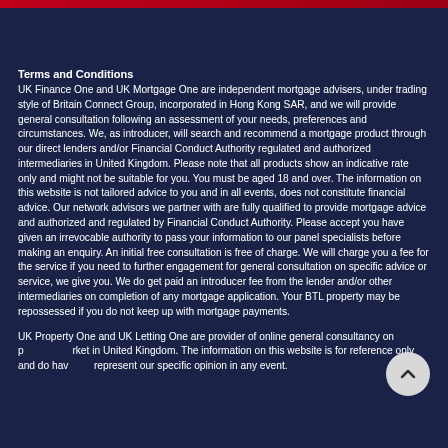Terms and Conditions
UK Finance One and UK Mortgage One are independent mortgage advisers, under trading style of Britain Connect Group, incorporated in Hong Kong SAR, and we will provide general consultation following an assessment of your needs, preferences and circumstances. We, as introducer, will search and recommend a mortgage product through our direct lenders and/or Financial Conduct Authority regulated and authorized intermediaries in United Kingdom. Please note that all products show an indicative rate only and might not be suitable for you. You must be aged 18 and over. The information on this website is not tailored advice to you and in all events, does not constitute financial advice. Our network advisors we partner with are fully qualified to provide mortgage advice and authorized and regulated by Financial Conduct Authority. Please accept you have given an irrevocable authority to pass your information to our panel specialists before making an enquiry. An initial free consultation is free of charge. We will charge you a fee for the service if you need to further engagement for general consultation on specific advice or service, we give you. We do get paid an introducer fee from the lender and/or other intermediaries on completion of any mortgage application. Your BTL property may be repossessed if you do not keep up with mortgage payments.
UK Property One and UK Letting One are provider of online general consultancy on property market in United Kingdom. The information on this website is for reference only and do have not represent our specific opinion in any event.